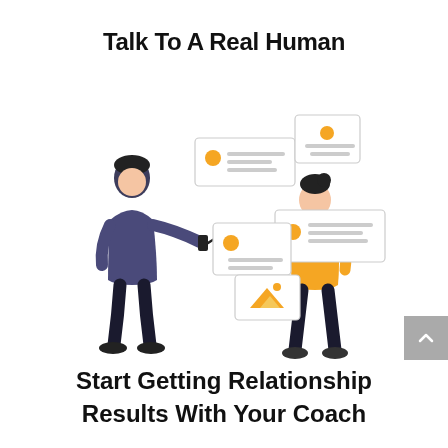Talk To A Real Human
[Figure (illustration): Two illustrated people exchanging content cards/documents via a curved line. A man on the left holds a phone while cards with orange dots and text float above. A woman on the right in yellow top holds a cord connected to more cards including one with a mountain/image icon.]
Start Getting Relationship Results With Your Coach